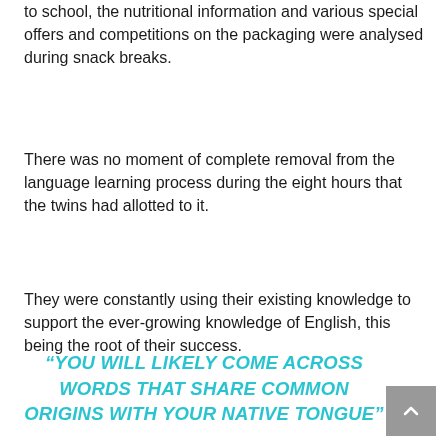to school, the nutritional information and various special offers and competitions on the packaging were analysed during snack breaks.
There was no moment of complete removal from the language learning process during the eight hours that the twins had allotted to it.
They were constantly using their existing knowledge to support the ever-growing knowledge of English, this being the root of their success.
“YOU WILL LIKELY COME ACROSS WORDS THAT SHARE COMMON ORIGINS WITH YOUR NATIVE TONGUE”